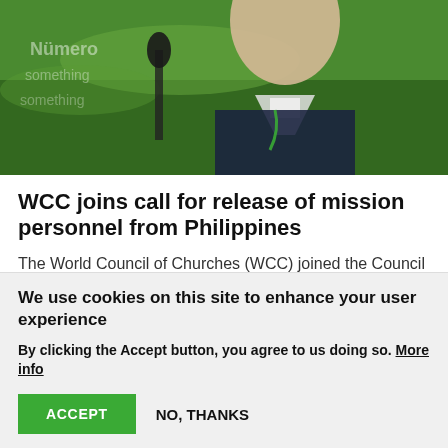[Figure (photo): Photo of a man in clerical collar and dark jacket, standing at a microphone, with green banner/signage visible in the background.]
WCC joins call for release of mission personnel from Philippines
The World Council of Churches (WCC) joined the Council of Bishops of the United Methodist Church (UMC) as well as United Methodist bishops in the Philippines in appealing to the government of the Philippines for assistance and cooperation in extracting three United Methodist mission personnel from the country.
We use cookies on this site to enhance your user experience
By clicking the Accept button, you agree to us doing so. More info
ACCEPT
NO, THANKS